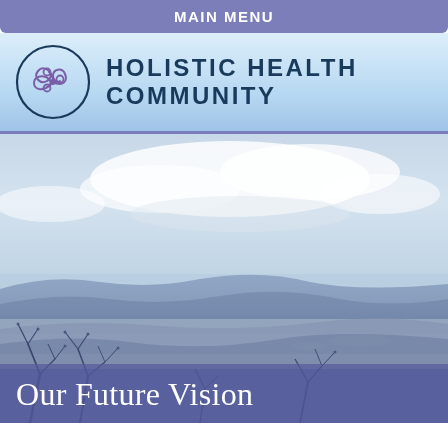MAIN MENU
HOLISTIC HEALTH COMMUNITY
[Figure (photo): Panoramic landscape photo showing layered blue-hued mountain ridges, a wide valley with haze, cloudy sky with white clouds, and bare winter tree branches in the foreground.]
Our Future Vision